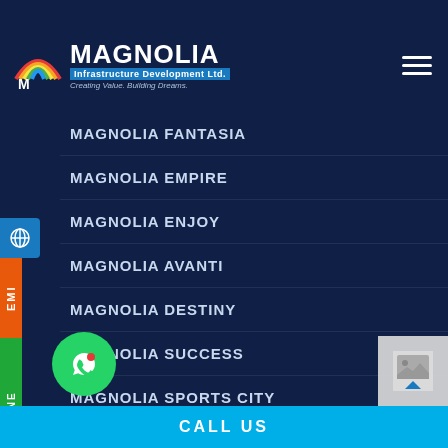Ongoing Projects
[Figure (logo): Magnolia Infrastructure Development Ltd. logo with rainbow arc and tagline Creating Value. Building Dreams.]
MAGNOLIA FANTASIA
MAGNOLIA EMPIRE
MAGNOLIA ENJOY
MAGNOLIA AVANTI
MAGNOLIA DESTINY
MAGNOLIA SUCCESS
MAGNOLIA SPORTS CITY
MAGNOLIA OAKLAND
MAGNOLIA DREAMSVILLE
MAGNOLIA MULBERRY
MAGNOLIA MEADOW
CALL US